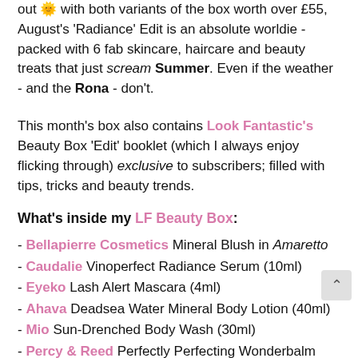out 🌞 with both variants of the box worth over £55, August's 'Radiance' Edit is an absolute worldie - packed with 6 fab skincare, haircare and beauty treats that just scream Summer. Even if the weather - and the Rona - don't.
This month's box also contains Look Fantastic's Beauty Box 'Edit' booklet (which I always enjoy flicking through) exclusive to subscribers; filled with tips, tricks and beauty trends.
What's inside my LF Beauty Box:
- Bellapierre Cosmetics Mineral Blush in Amaretto
- Caudalie Vinoperfect Radiance Serum (10ml)
- Eyeko Lash Alert Mascara (4ml)
- Ahava Deadsea Water Mineral Body Lotion (40ml)
- Mio Sun-Drenched Body Wash (30ml)
- Percy & Reed Perfectly Perfecting Wonderbalm (30ml)